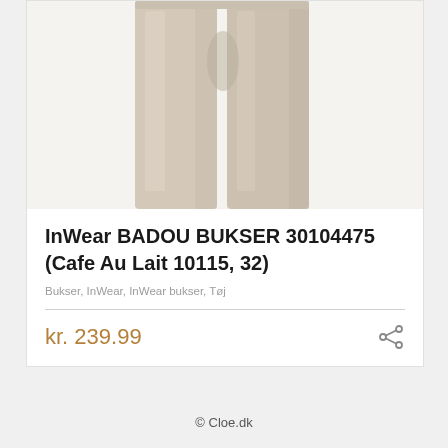[Figure (photo): Product photo of beige/khaki trousers (InWear BADOU BUKSER) shown from knees up, cropped at top]
InWear BADOU BUKSER 30104475 (Cafe Au Lait 10115, 32)
Bukser, InWear, InWear bukser, Tøj
kr. 239.99
© Cloe.dk